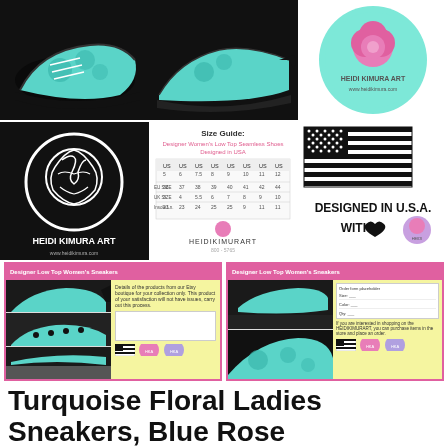[Figure (photo): Row 1: Three product images - turquoise floral sneakers top view, sneaker side view, and Heidi Kimura Art logo circle]
[Figure (photo): Row 2: Heidi Kimura Art black logo, size guide chart table, US flag 'Designed in USA with heart' graphic]
[Figure (photo): Row 3: Two product info sheets for Designer Low Top Women's Sneakers with pink headers]
Turquoise Floral Ladies Sneakers, Blue Rose